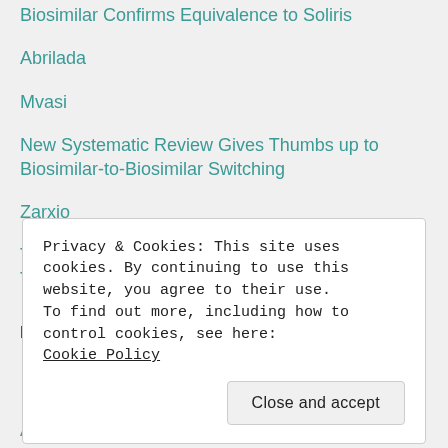Biosimilar Confirms Equivalence to Soliris
Abrilada
Mvasi
New Systematic Review Gives Thumbs up to Biosimilar-to-Biosimilar Switching
Zarxio
The Next-Generation Biosimilar Race: A Tale of Two Autoimmune Biologics
Follow Us
Privacy & Cookies: This site uses cookies. By continuing to use this website, you agree to their use.
To find out more, including how to control cookies, see here:
Cookie Policy
Close and accept
About BR&R